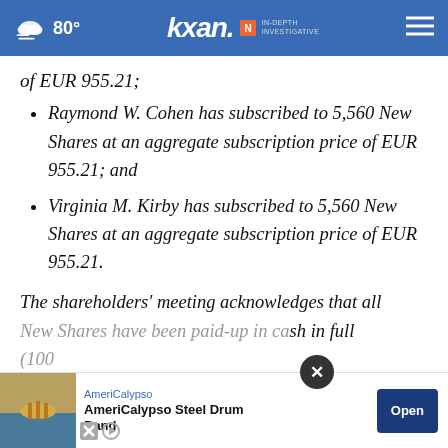80° | KXAN In-Depth Investigative
of EUR 955.21;
Raymond W. Cohen has subscribed to 5,560 New Shares at an aggregate subscription price of EUR 955.21; and
Virginia M. Kirby has subscribed to 5,560 New Shares at an aggregate subscription price of EUR 955.21.
The shareholders' meeting acknowledges that all New Shares have been paid-up in cash in full (100%
[Figure (screenshot): Advertisement overlay: AmeriCalypso Steel Drum Band with Open button and close (X) button]